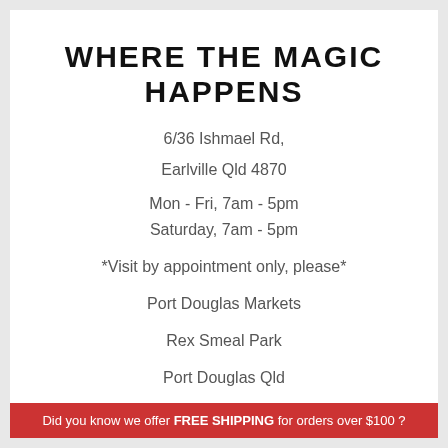WHERE THE MAGIC HAPPENS
6/36 Ishmael Rd,
Earlville Qld 4870
Mon - Fri, 7am - 5pm
Saturday, 7am - 5pm
*Visit by appointment only, please*
Port Douglas Markets
Rex Smeal Park
Port Douglas Qld
Did you know we offer FREE SHIPPING for orders over $100 ?